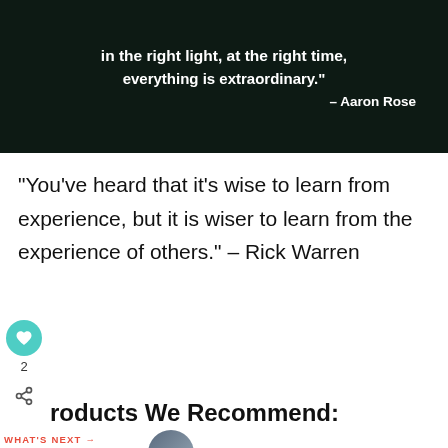[Figure (illustration): Dark background image with white bold text quote: 'in the right light, at the right time, everything is extraordinary.' – Aaron Rose]
“You’ve heard that it’s wise to learn from experience, but it is wiser to learn from the experience of others.” – Rick Warren
roducts We Recommend:
Weighted Blanket
[Figure (photo): Thumbnail circular photo for 'What's Next' navigation: 35+ Quotes About...]
[Figure (infographic): Advertisement banner with pink/orange background showing a person and text: 'Actions speak louder than words.']